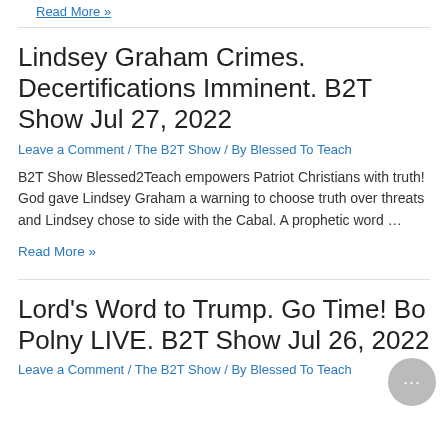Read More »
Lindsey Graham Crimes. Decertifications Imminent. B2T Show Jul 27, 2022
Leave a Comment / The B2T Show / By Blessed To Teach
B2T Show Blessed2Teach empowers Patriot Christians with truth! God gave Lindsey Graham a warning to choose truth over threats and Lindsey chose to side with the Cabal. A prophetic word …
Read More »
Lord's Word to Trump. Go Time! Bo Polny LIVE. B2T Show Jul 26, 2022
Leave a Comment / The B2T Show / By Blessed To Teach